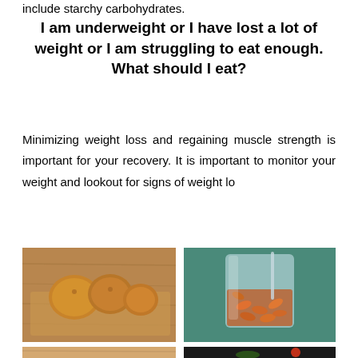include starchy carbohydrates.
I am underweight or I have lost a lot of weight or I am struggling to eat enough. What should I eat?
Minimizing weight loss and regaining muscle strength is important for your recovery. It is important to monitor your weight and lookout for signs of weight lo
[Figure (photo): Figs or baked goods on a wooden cutting board]
[Figure (photo): Almonds soaking in a glass of water on a teal surface]
[Figure (photo): Partially visible food item at bottom left]
[Figure (photo): Partially visible food items including tomato and herbs at bottom right]